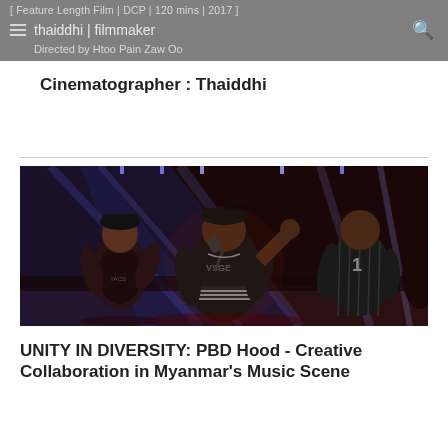[ Feature Length Film | DCP | 120 mins | 2017 ]
thaiddhi | filmmaker
Directed by Htoo Pain Zaw Oo
Cinematographer : Thaiddhi
[Figure (photo): Concert performance photo showing three performers on stage with dramatic blue and red stage lighting. The center performer wears a VSGE hoodie and holds a microphone, flanked by two other performers. Dark atmospheric background with light rays.]
UNITY IN DIVERSITY: PBD Hood - Creative Collaboration in Myanmar's Music Scene